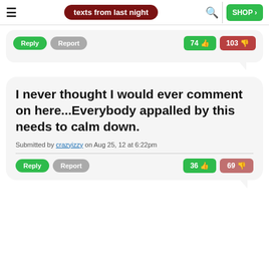texts from last night — SHOP
Reply  Report  74 👍  103 👎
I never thought I would ever comment on here...Everybody appalled by this needs to calm down.
Submitted by crazyizzy on Aug 25, 12 at 6:22pm
Reply  Report  36 👍  69 👎